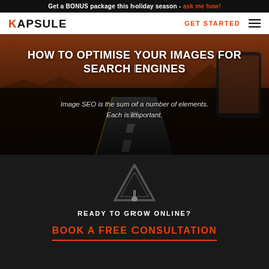Get a BONUS package this holiday season - ask me how!
[Figure (logo): Kapsule logo in black bold with orange K accent, navigation bar with GET STARTED in orange and hamburger menu]
HOW TO OPTIMISE YOUR IMAGES FOR SEARCH ENGINES
Image SEO is the sum of a number of elements. Each is important.
[Figure (illustration): Dark background with Kapsule orange triangle logo mark in center]
READY TO GROW ONLINE?
BOOK A FREE CONSULTATION